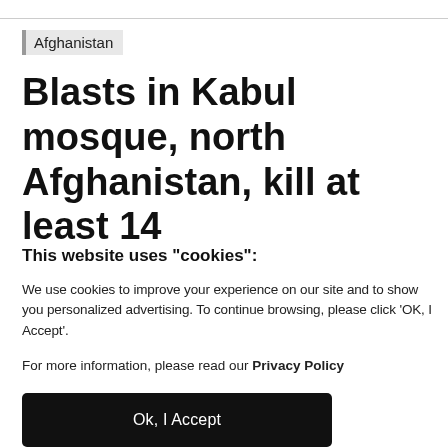Afghanistan
Blasts in Kabul mosque, north Afghanistan, kill at least 14
This website uses "cookies":
We use cookies to improve your experience on our site and to show you personalized advertising. To continue browsing, please click ‘OK, I Accept’.
For more information, please read our Privacy Policy
Ok, I Accept